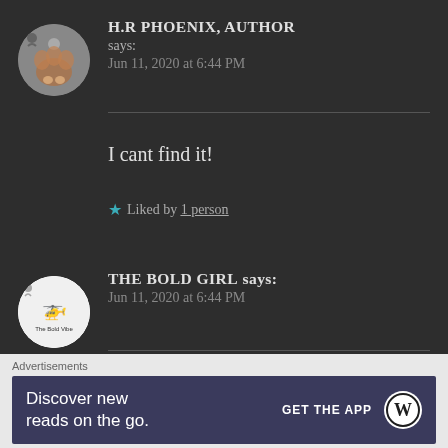H.R PHOENIX, AUTHOR says: Jun 11, 2020 at 6:44 PM
I cant find it!
★ Liked by 1 person
THE BOLD GIRL says: Jun 11, 2020 at 6:44 PM
The one on which I said I will delete it 🙂🙂
Advertisements
Discover new reads on the go. GET THE APP